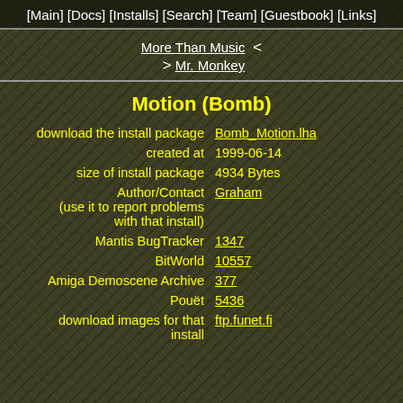[Main] [Docs] [Installs] [Search] [Team] [Guestbook] [Links]
More Than Music < > Mr. Monkey
Motion (Bomb)
| Label | Value |
| --- | --- |
| download the install package | Bomb_Motion.lha |
| created at | 1999-06-14 |
| size of install package | 4934 Bytes |
| Author/Contact
(use it to report problems
with that install) | Graham |
| Mantis BugTracker | 1347 |
| BitWorld | 10557 |
| Amiga Demoscene Archive | 377 |
| Pouët | 5436 |
| download images for that install | ftp.funet.fi |